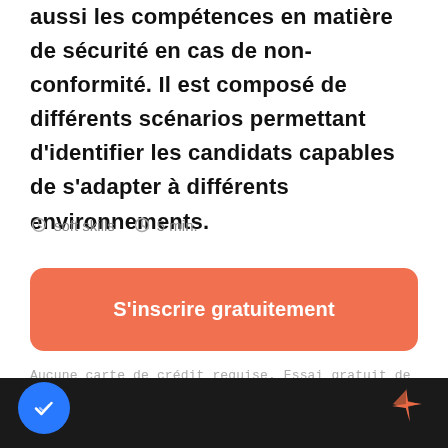aussi les compétences en matière de sécurité en cas de non-conformité. Il est composé de différents scénarios permettant d'identifier les candidats capables de s'adapter à différents environnements.
soft skills   5 min.
S'inscrire gratuitement
Aucune carte de crédit requise. Essai gratuit de 15 jours.
[Figure (photo): Dark background strip at the bottom with a blue checkmark badge on the left and an orange star/sparkle icon on the right.]